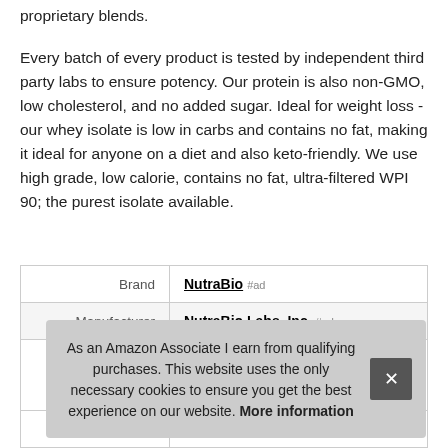proprietary blends.
Every batch of every product is tested by independent third party labs to ensure potency. Our protein is also non-GMO, low cholesterol, and no added sugar. Ideal for weight loss - our whey isolate is low in carbs and contains no fat, making it ideal for anyone on a diet and also keto-friendly. We use high grade, low calorie, contains no fat, ultra-filtered WPI 90; the purest isolate available.
|  |  |
| --- | --- |
| Brand | NutraBio #ad |
| Manufacturer | NutraBio Labs, Inc. #ad |
| Width | 2.36 inches |
As an Amazon Associate I earn from qualifying purchases. This website uses the only necessary cookies to ensure you get the best experience on our website. More information